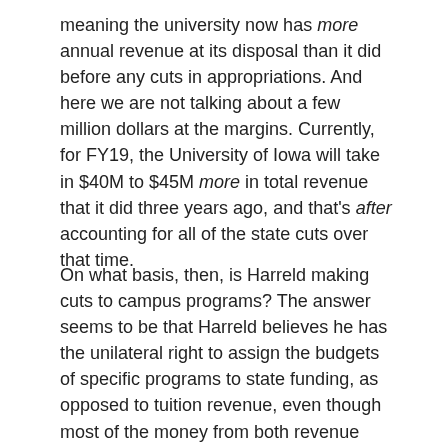meaning the university now has more annual revenue at its disposal than it did before any cuts in appropriations. And here we are not talking about a few million dollars at the margins. Currently, for FY19, the University of Iowa will take in $40M to $45M more in total revenue that it did three years ago, and that's after accounting for all of the state cuts over that time.
On what basis, then, is Harreld making cuts to campus programs? The answer seems to be that Harreld believes he has the unilateral right to assign the budgets of specific programs to state funding, as opposed to tuition revenue, even though most of the money from both revenue sources goes into the same big pot before it is doled out. There are indeed some programs at